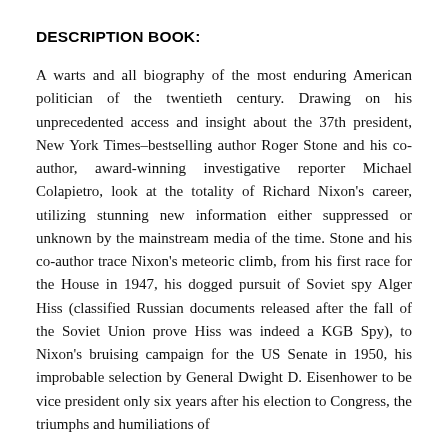DESCRIPTION BOOK:
A warts and all biography of the most enduring American politician of the twentieth century. Drawing on his unprecedented access and insight about the 37th president, New York Times–bestselling author Roger Stone and his co-author, award-winning investigative reporter Michael Colapietro, look at the totality of Richard Nixon's career, utilizing stunning new information either suppressed or unknown by the mainstream media of the time. Stone and his co-author trace Nixon's meteoric climb, from his first race for the House in 1947, his dogged pursuit of Soviet spy Alger Hiss (classified Russian documents released after the fall of the Soviet Union prove Hiss was indeed a KGB Spy), to Nixon's bruising campaign for the US Senate in 1950, his improbable selection by General Dwight D. Eisenhower to be vice president only six years after his election to Congress, the triumphs and humiliations of